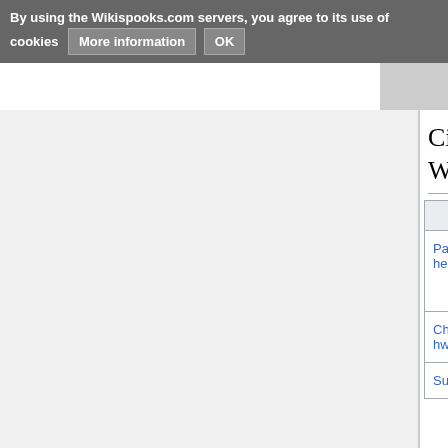By using the Wikispooks.com servers, you agree to its use of cookies   More information   OK
Citizens of South Korea on Wikispooks
| Title | Born | Died | D… |
| --- | --- | --- | --- |
| Park Chung-hee | 14 November 1917 | 26 October 1979 | P… S… a… i… |
| Chun Doo-hwan | 18 January 1931 |  |  |
| Suh Hoon | 1954 |  |  |